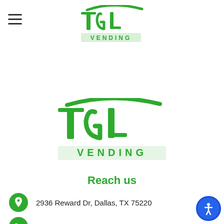[Figure (logo): TGL Vending logo (small, top center) — green stylized TGL letters with VENDING text below]
[Figure (logo): TGL Vending logo (large, center) — green stylized TGL letters with VENDING text below]
Reach us
2936 Reward Dr, Dallas, TX 75220
214-477-6195